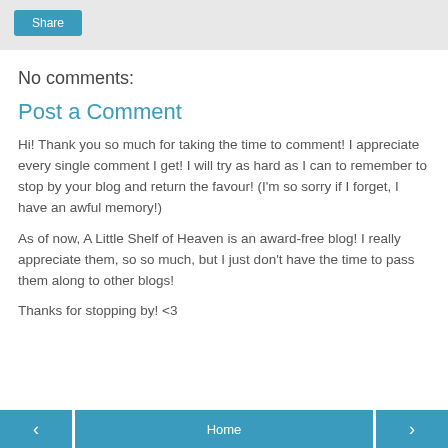Share
No comments:
Post a Comment
Hi! Thank you so much for taking the time to comment! I appreciate every single comment I get! I will try as hard as I can to remember to stop by your blog and return the favour! (I'm so sorry if I forget, I have an awful memory!)
As of now, A Little Shelf of Heaven is an award-free blog! I really appreciate them, so so much, but I just don't have the time to pass them along to other blogs!
Thanks for stopping by! <3
‹  Home  ›